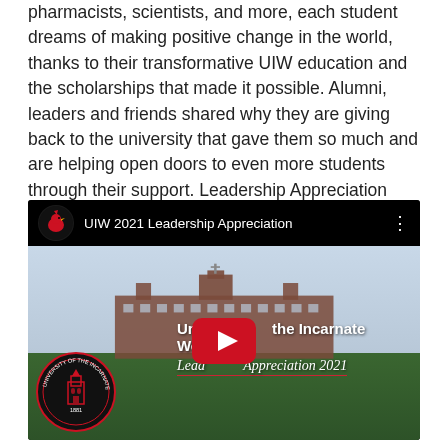pharmacists, scientists, and more, each student dreams of making positive change in the world, thanks to their transformative UIW education and the scholarships that made it possible. Alumni, leaders and friends shared why they are giving back to the university that gave them so much and are helping open doors to even more students through their support. Leadership Appreciation 2021 can be viewed below or at uiw.edu/leadership.
[Figure (screenshot): YouTube video embed showing UIW 2021 Leadership Appreciation video. Top bar shows YouTube-style header with UIW cardinal logo icon and title 'UIW 2021 Leadership Appreciation'. Thumbnail shows University of the Incarnate Word building with trees, UIW circular seal on left, overlaid text 'University of the Incarnate Word' and 'Leadership Appreciation 2021' in white italic script. A red YouTube play button is centered on the thumbnail.]